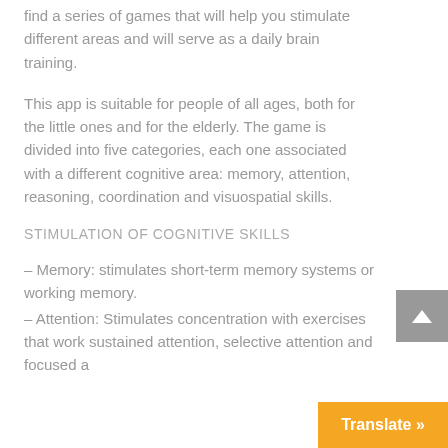find a series of games that will help you stimulate different areas and will serve as a daily brain training.
This app is suitable for people of all ages, both for the little ones and for the elderly. The game is divided into five categories, each one associated with a different cognitive area: memory, attention, reasoning, coordination and visuospatial skills.
STIMULATION OF COGNITIVE SKILLS
– Memory: stimulates short-term memory systems or working memory.
– Attention: Stimulates concentration with exercises that work sustained attention, selective attention and focused a…